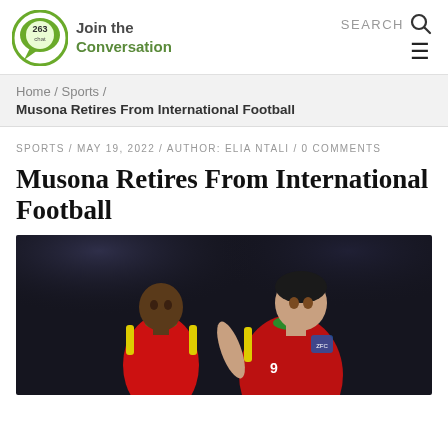263Chat — Join the Conversation | SEARCH
Home / Sports / Musona Retires From International Football
SPORTS / MAY 19, 2022 / AUTHOR: ELIA NTALI / 0 COMMENTS
Musona Retires From International Football
[Figure (photo): Two Zimbabwe football players in red jerseys with green/yellow trim celebrating or talking closely, dark stadium background.]